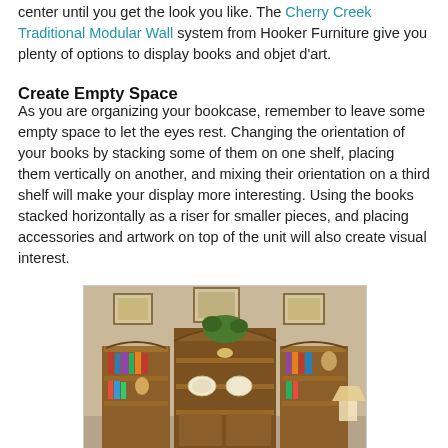center until you get the look you like. The Cherry Creek Traditional Modular Wall system from Hooker Furniture give you plenty of options to display books and objet d'art.
Create Empty Space
As you are organizing your bookcase, remember to leave some empty space to let the eyes rest. Changing the orientation of your books by stacking some of them on one shelf, placing them vertically on another, and mixing their orientation on a third shelf will make your display more interesting. Using the books stacked horizontally as a riser for smaller pieces, and placing accessories and artwork on top of the unit will also create visual interest.
[Figure (photo): A traditional modular wall bookcase unit from Hooker Furniture (Cherry Creek style), showing a large wooden bookcase with multiple shelves displaying books, plates, decorative items, and artwork. Framed pictures hang on the wall above the unit.]